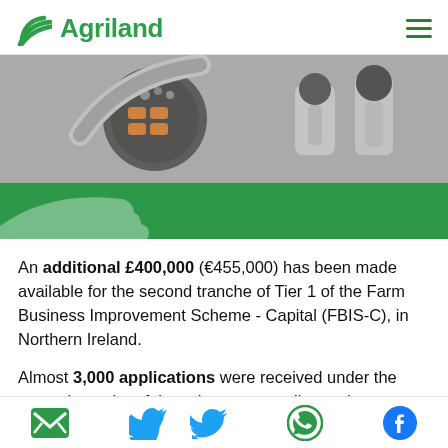Agriland
[Figure (photo): Close-up of agricultural machinery controls — joystick and button panels]
An additional £400,000 (€455,000) has been made available for the second tranche of Tier 1 of the Farm Business Improvement Scheme - Capital (FBIS-C), in Northern Ireland.
Almost 3,000 applications were received under the second tranche of the scheme, according to the Department of Agriculture, Environment and
Email | Twitter | WhatsApp | Facebook